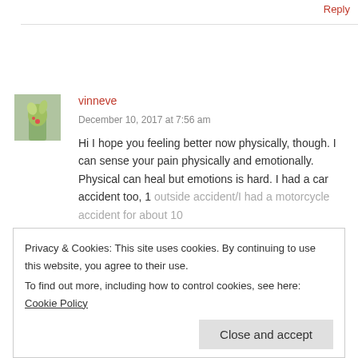Reply
[Figure (photo): Small avatar photo of user vinneve, showing a plant or cactus image]
vinneve
December 10, 2017 at 7:56 am
Hi I hope you feeling better now physically, though. I can sense your pain physically and emotionally. Physical can heal but emotions is hard. I had a car accident too, 1 outside accident/I had a motorcycle accident for about 10
Privacy & Cookies: This site uses cookies. By continuing to use this website, you agree to their use.
To find out more, including how to control cookies, see here: Cookie Policy
Close and accept